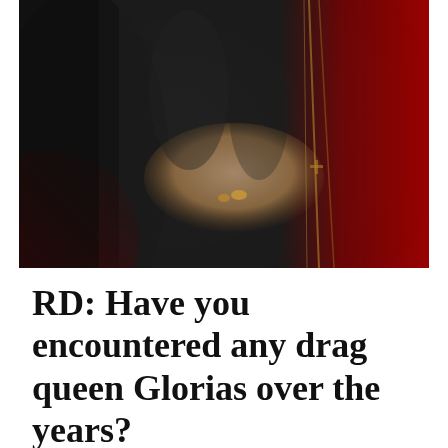[Figure (photo): Close-up torso photo of a person wearing a black long-sleeve form-fitting dress with layered gold/bronze necklaces including a cross pendant, hand on hip with rings, against a red curtain background]
RD: Have you encountered any drag queen Glorias over the years?